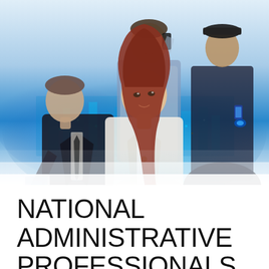[Figure (photo): Composite photo of four business professionals against a glowing blue city skyline double-exposure background. A woman with red hair in a white blazer is in the foreground center. A man in a dark suit with a tie holds a tablet on the left. A man in a light blue shirt talks on a phone in the upper center. A man in a dark t-shirt looks at a phone on the upper right.]
NATIONAL ADMINISTRATIVE PROFESSIONALS